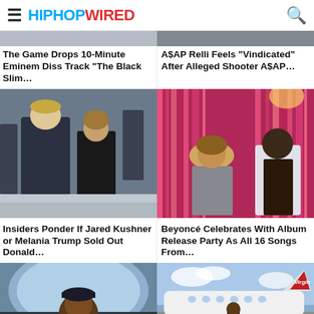HIPHOPWIRED
[Figure (photo): Partial top of article image - left column]
[Figure (photo): Partial top of article image - right column]
The Game Drops 10-Minute Eminem Diss Track “The Black Slim…
A$AP Relli Feels “Vindicated” After Alleged Shooter A$AP…
[Figure (photo): Donald Trump and Melania Trump at an event, outdoors on steps]
[Figure (photo): Beyonce and Jay-Z at a party with pink/red metallic backdrop]
Insiders Ponder If Jared Kushner or Melania Trump Sold Out Donald…
Beyoncé Celebrates With Album Release Party As All 16 Songs From…
[Figure (photo): Man smiling in cockpit of helicopter or small aircraft]
[Figure (photo): Man standing in front of Virgin plane on tarmac]